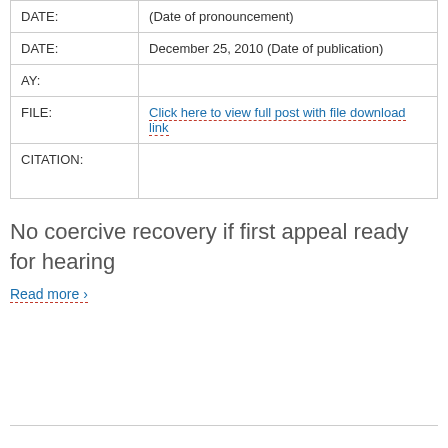| Field | Value |
| --- | --- |
| DATE: | (Date of pronouncement) |
| DATE: | December 25, 2010 (Date of publication) |
| AY: |  |
| FILE: | Click here to view full post with file download link |
| CITATION: |  |
No coercive recovery if first appeal ready for hearing
Read more ›